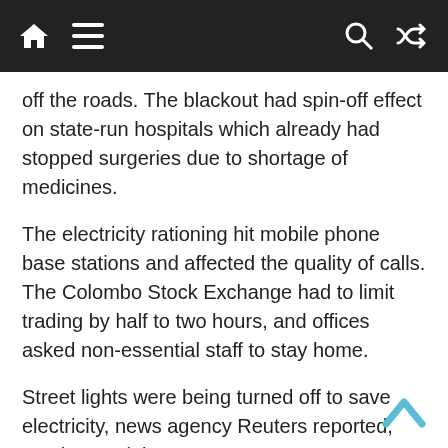Navigation bar with home, menu, search, and shuffle icons
off the roads. The blackout had spin-off effect on state-run hospitals which already had stopped surgeries due to shortage of medicines.
The electricity rationing hit mobile phone base stations and affected the quality of calls. The Colombo Stock Exchange had to limit trading by half to two hours, and offices asked non-essential staff to stay home.
Street lights were being turned off to save electricity, news agency Reuters reported, quoting a minister.
By evening today, the people started converging on the road near the house of President Gotabaya Rajapaksa, demanding that he